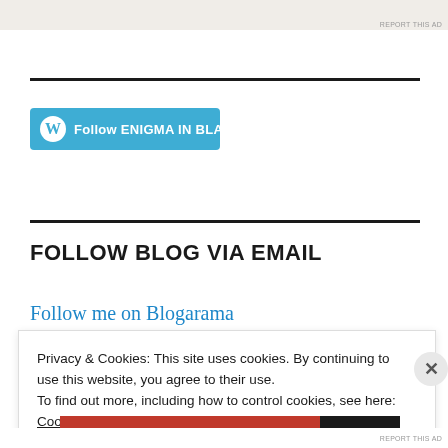[Figure (other): Top ad image strip with beige/white products and a dark image on the right]
REPORT THIS AD
Follow ENIGMA IN BLACK
FOLLOW BLOG VIA EMAIL
Follow me on Blogarama
Privacy & Cookies: This site uses cookies. By continuing to use this website, you agree to their use.
To find out more, including how to control cookies, see here:
Cookie Policy
Close and accept
REPORT THIS AD